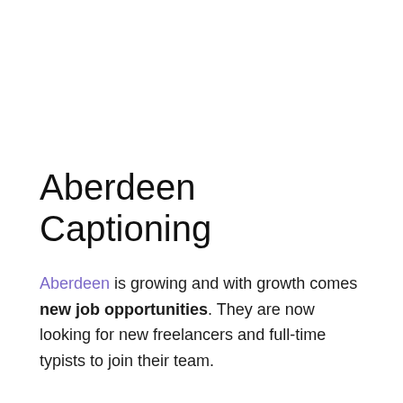Aberdeen Captioning
Aberdeen is growing and with growth comes new job opportunities. They are now looking for new freelancers and full-time typists to join their team.